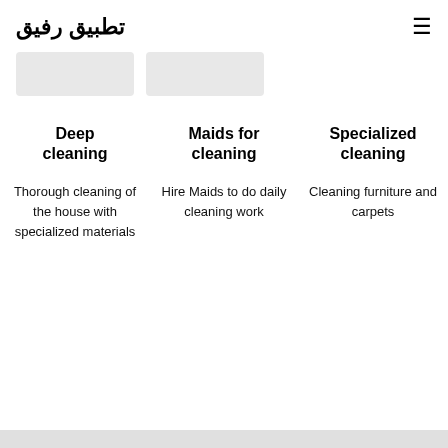تطبيق رفيق
[Figure (other): Two grey placeholder image boxes in a row]
Deep cleaning
Thorough cleaning of the house with specialized materials
Maids for cleaning
Hire Maids to do daily cleaning work
Specialized cleaning
Cleaning furniture and carpets